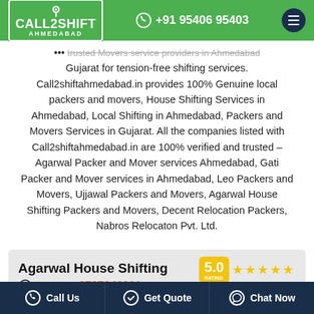[Figure (logo): Call2Shift Ahmedabad logo with phone number +91 95406 95403 and hamburger menu on green header]
trusted Movers service providers in Ahmedabad Gujarat for tension-free shifting services. Call2shiftahmedabad.in provides 100% Genuine local packers and movers, House Shifting Services in Ahmedabad, Local Shifting in Ahmedabad, Packers and Movers Services in Gujarat. All the companies listed with Call2shiftahmedabad.in are 100% verified and trusted – Agarwal Packer and Mover services Ahmedabad, Gati Packer and Mover services in Ahmedabad, Leo Packers and Movers, Ujjawal Packers and Movers, Agarwal House Shifting Packers and Movers, Decent Relocation Packers, Nabros Relocaton Pvt. Ltd.
[Figure (infographic): Agarwal House Shifting card with 5.0 rating, mobile 9737946001, website www.agarwalhouseshifting.com, and View Profile button]
Call Us   Get Quote   Chat Now